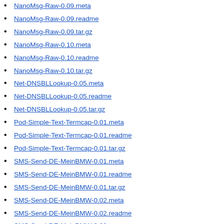NanoMsg-Raw-0.09.meta
NanoMsg-Raw-0.09.readme
NanoMsg-Raw-0.09.tar.gz
NanoMsg-Raw-0.10.meta
NanoMsg-Raw-0.10.readme
NanoMsg-Raw-0.10.tar.gz
Net-DNSBLLookup-0.05.meta
Net-DNSBLLookup-0.05.readme
Net-DNSBLLookup-0.05.tar.gz
Pod-Simple-Text-Termcap-0.01.meta
Pod-Simple-Text-Termcap-0.01.readme
Pod-Simple-Text-Termcap-0.01.tar.gz
SMS-Send-DE-MeinBMW-0.01.meta
SMS-Send-DE-MeinBMW-0.01.readme
SMS-Send-DE-MeinBMW-0.01.tar.gz
SMS-Send-DE-MeinBMW-0.02.meta
SMS-Send-DE-MeinBMW-0.02.readme
SMS-Send-DE-MeinBMW-0.02.tar.gz
SMS-Send-DE-MeinBMW-0.03.meta
SMS-Send-DE-MeinBMW-0.03.readme
SMS-Send-DE-MeinBMW-0.03.tar.gz
SMS-Send-DE-MeinBMW-0.04.meta
SMS-Send-DE-MeinBMW-0.04.readme
SMS-Send-DE-MeinBMW-0.04.tar.gz
SMS-Send-DE-MeinBMW-0.05.meta
SMS-Send-DE-MeinBMW-0.05.readme